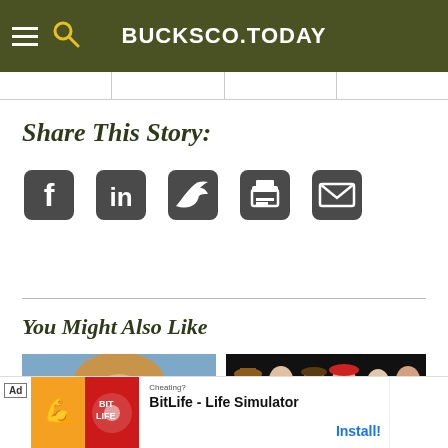BUCKSCО.TODAY
Share This Story:
[Figure (infographic): Social share icons: Facebook, LinkedIn, Twitter, Print, Email]
You Might Also Like
[Figure (photo): Headshot of a smiling woman with blonde hair against a blue background]
[Figure (photo): Group of performers in black and red costumes with vintage hats]
[Figure (infographic): Ad banner: BitLife - Life Simulator app advertisement with Install button]